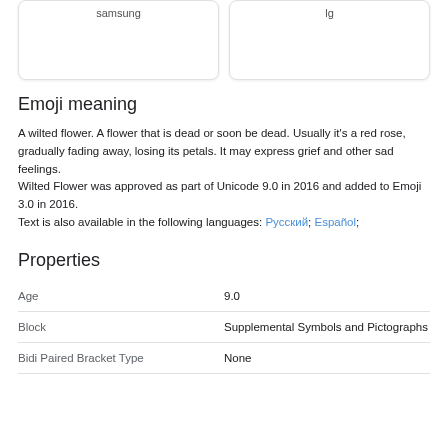[Figure (screenshot): Two card boxes at the top showing partial vendor labels: 'samsung' on the left and 'lg' on the right]
Emoji meaning
A wilted flower. A flower that is dead or soon be dead. Usually it's a red rose, gradually fading away, losing its petals. It may express grief and other sad feelings.
Wilted Flower was approved as part of Unicode 9.0 in 2016 and added to Emoji 3.0 in 2016.
Text is also available in the following languages: Русский; Español;
Properties
| Property | Value |
| --- | --- |
| Age | 9.0 |
| Block | Supplemental Symbols and Pictographs |
| Bidi Paired Bracket Type | None |